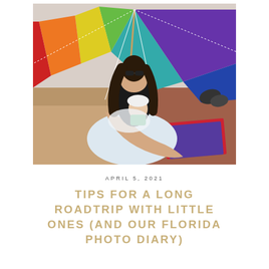[Figure (photo): A woman in a black swimsuit sitting on a sandy beach under a colorful multicolored beach umbrella, holding a baby dressed in colorful swimwear. Beach towels and sand are visible around them.]
APRIL 5, 2021
TIPS FOR A LONG ROADTRIP WITH LITTLE ONES (AND OUR FLORIDA PHOTO DIARY)